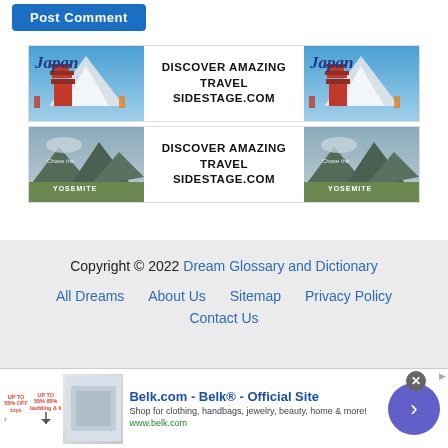[Figure (other): Post Comment button (blue rounded rectangle)]
[Figure (other): Japan travel advertisement banner - DISCOVER AMAZING TRAVEL SIDESTAGE.COM with Japan pagoda images on left and right]
[Figure (other): Yosemite travel advertisement banner - DISCOVER AMAZING TRAVEL SIDESTAGE.COM with Yosemite mountain images on left and right]
Copyright © 2022 Dream Glossary and Dictionary
All Dreams   About Us   Sitemap   Privacy Policy
Contact Us
[Figure (other): Belk.com advertisement banner - Belk® - Official Site - Shop for clothing, handbags, jewelry, beauty, home & more! www.belk.com]